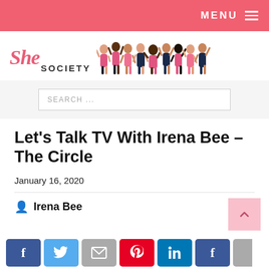MENU
[Figure (logo): She Society logo with script 'She' in pink and 'SOCIETY' in bold uppercase, alongside an illustration of diverse women in pink and navy]
SEARCH ...
Let's Talk TV With Irena Bee – The Circle
January 16, 2020
Irena Bee
[Figure (other): Back to top arrow button in pink]
[Figure (other): Social media sharing icons row: Facebook, Twitter, Email, Pinterest, LinkedIn, Facebook, partial]